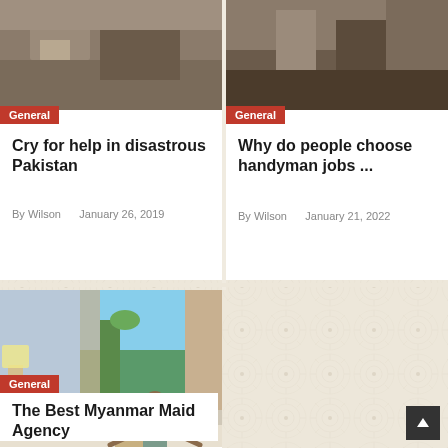[Figure (photo): Top portion of article card: photo of Pakistan scene (partially visible)]
General
Cry for help in disastrous Pakistan
By Wilson    January 26, 2019
[Figure (photo): Top portion of article card: photo of handyman scene (partially visible)]
General
Why do people choose handyman jobs ...
By Wilson    January 21, 2022
[Figure (photo): Hotel maid making a bed in a bright room with large windows and tropical view outside]
General
The Best Myanmar Maid Agency
By Wilson    June 11, 2022